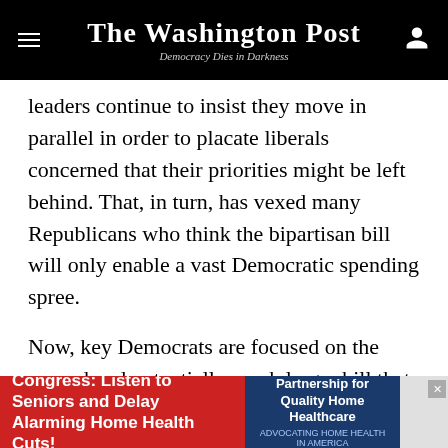The Washington Post — Democracy Dies in Darkness
leaders continue to insist they move in parallel in order to placate liberals concerned that their priorities might be left behind. That, in turn, has vexed many Republicans who think the bipartisan bill will only enable a vast Democratic spending spree.
Now, key Democrats are focused on the second and potentially much larger bill that would include provisions that Republicans are not expected to support — items like climate measures, expansions of health-care coverage, broad new college subsidies and the tax increases necessary to make those measures permanent.
[Figure (other): Advertisement banner: 'Congress: Listen to Seniors and Delay Alarming Home Health Cuts!' with Partnership for Quality Home Healthcare logo]